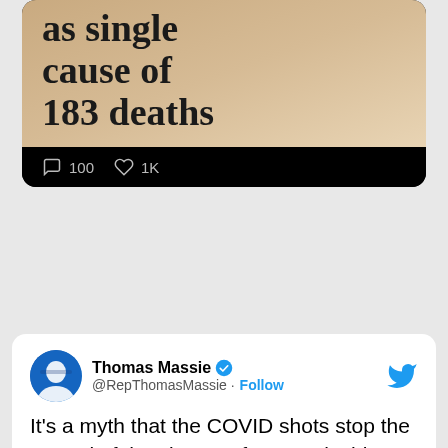[Figure (screenshot): Top portion of a Twitter/X post showing a news headline image reading 'as single cause of 183 deaths' with comment count 100 and like count 1K, displayed on black background]
[Figure (screenshot): Twitter/X post by Thomas Massie (@RepThomasMassie) with verified badge and Follow button. Tweet text: It's a myth that the COVID shots stop the spread of the virus. Unfortunately this myth is still the basis of policies and decisions that are causing real harm to Americans. Includes embedded video thumbnail with text CONGRESSMAN THOMAS MASSIE 'VACCINE DOES NOT STOP SPREAD OF COVID' and Watch on Twitter pill button.]